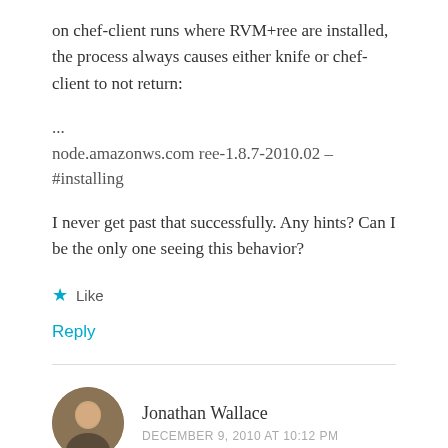on chef-client runs where RVM+ree are installed, the process always causes either knife or chef-client to not return:
...
node.amazonws.com ree-1.8.7-2010.02 – #installing
I never get past that successfully. Any hints? Can I be the only one seeing this behavior?
Like
Reply
Jonathan Wallace
DECEMBER 9, 2010 AT 10:12 PM